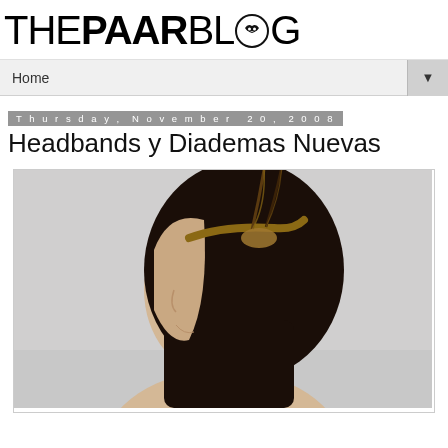THEPAAR BLOG
Home
Thursday, November 20, 2008
Headbands y Diademas Nuevas
[Figure (photo): Side profile of a woman with dark hair wearing a feathered headband, photographed against a grey background]